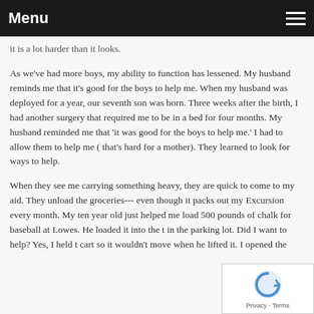Menu
it is a lot harder than it looks.
As we've had more boys, my ability to function has lessened. My husband reminds me that it's good for the boys to help me. When my husband was deployed for a year, our seventh son was born. Three weeks after the birth, I had another surgery that required me to be in a bed for four months. My husband reminded me that 'it was good for the boys to help me.' I had to allow them to help me ( that's hard for a mother). They learned to look for ways to help.
When they see me carrying something heavy, they are quick to come to my aid. They unload the groceries--- even though it packs out my Excursion every month. My ten year old just helped me load 500 pounds of chalk for baseball at Lowes. He loaded it into the t in the parking lot. Did I want to help? Yes, I held t cart so it wouldn't move when he lifted it. I opened the